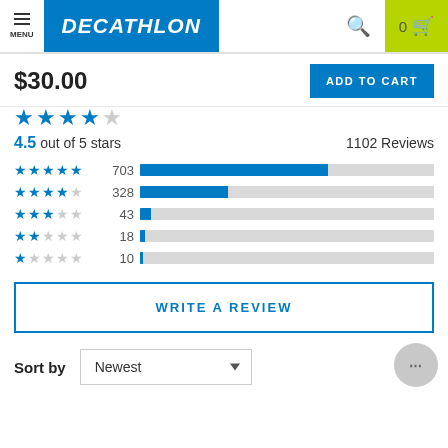MENU | DECATHLON | Search | 0 Cart
$30.00
ADD TO CART
[Figure (other): Partial star rating display (blue stars, clipped)]
4.5 out of 5 stars   1102 Reviews
[Figure (bar-chart): Rating breakdown]
WRITE A REVIEW
Sort by   Newest